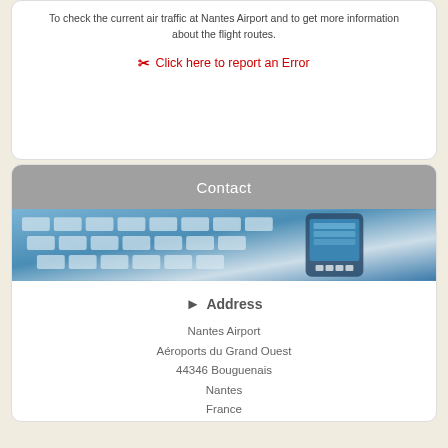To check the current air traffic at Nantes Airport and to get more information about the flight routes.
✂ Click here to report an Error
Contact
[Figure (photo): Photo of a laptop keyboard and mobile phone, blue-toned, suggesting digital contact]
Address
Nantes Airport
Aéroports du Grand Ouest
44346 Bouguenais
Nantes
France